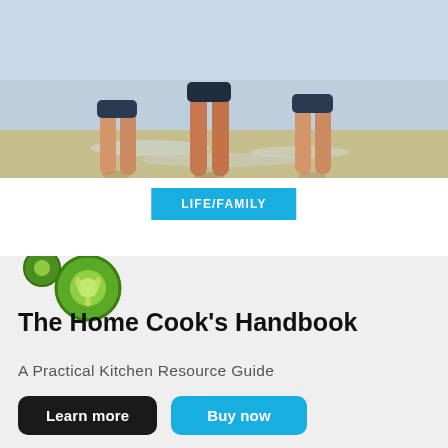[Figure (photo): Photograph of children's legs and feet standing in shallow beach water on wet sand, viewed from below the knees]
LIFE/FAMILY
[Figure (illustration): Advertisement banner with light gray background, cucumber slice decoration, book title 'The Home Cook's Handbook', subtitle 'A Practical Kitchen Resource Guide', and two buttons: 'Learn more' (black) and 'Buy now' (blue)]
The Home Cook's Handbook
A Practical Kitchen Resource Guide
Learn more
Buy now